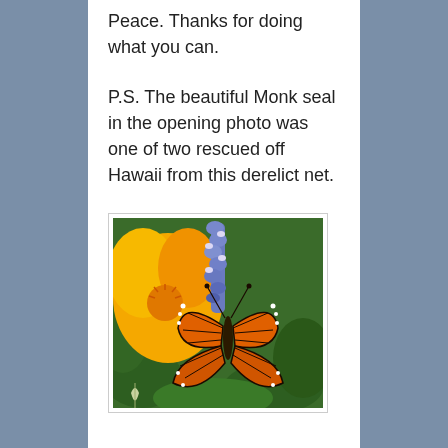Peace. Thanks for doing what you can.
P.S. The beautiful Monk seal in the opening photo was one of two rescued off Hawaii from this derelict net.
[Figure (photo): A monarch butterfly perched on a blue lupine flower spike, with a large orange California poppy and green foliage in the background.]